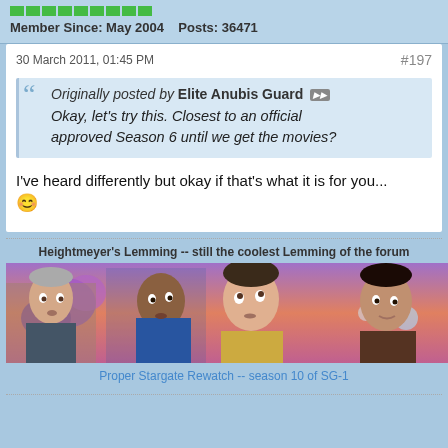Member Since: May 2004   Posts: 36471
30 March 2011, 01:45 PM   #197
Originally posted by Elite Anubis Guard
Okay, let's try this. Closest to an official approved Season 6 until we get the movies?
I've heard differently but okay if that's what it is for you... ☺
Heightmeyer's Lemming -- still the coolest Lemming of the forum
[Figure (photo): Promotional photo of Doctor Who cast with four people looking upward and sideways against a colorful alien background]
Proper Stargate Rewatch -- season 10 of SG-1